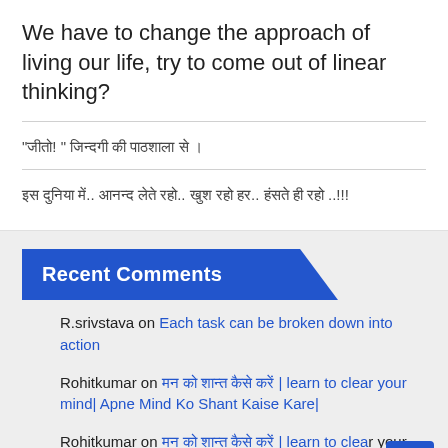We have to change the approach of living our life, try to come out of linear thinking?
“जीतो! ” जिन्दगी की पाठशाला से ।
इस दुनिया में.. आनन्द लेते रहो.. खुश रहो हर.. हंसते ही रहो ..!!!
Recent Comments
R.srivstava on Each task can be broken down into action
रोहितकुमार on मन को शान्त कैसे करें | learn to clear your mind| Apne Mind Ko Shant Kaise Kare|
Rohitkumar on मन को शान्त कैसे करें | learn to clear your mind| Apne Mind Ko Shant Kaise Kare|